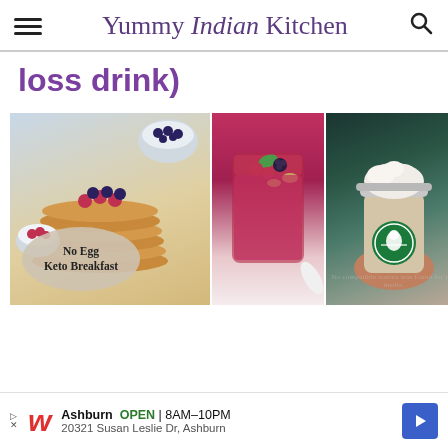Yummy Indian Kitchen
loss drink)
[Figure (photo): Three food/drink images: left shows stack of pancakes with berries and bowl of blueberries; middle shows a chia pudding or mousse dessert topped with raspberries, blackberries, and walnuts; right shows a hand holding a Starbucks frappuccino drink with whipped cream.]
No Egg Keto Breakfast
Ashburn  OPEN  8AM–10PM  20321 Susan Leslie Dr, Ashburn